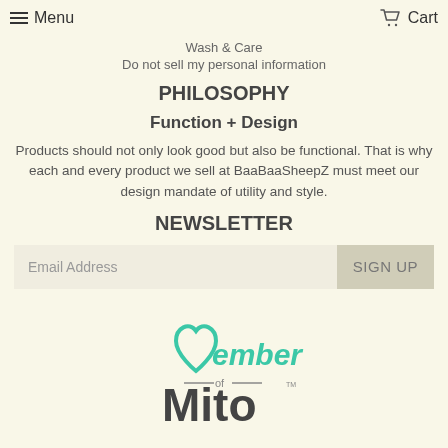Menu   Cart
Wash & Care
Do not sell my personal information
PHILOSOPHY
Function + Design
Products should not only look good but also be functional. That is why each and every product we sell at BaaBaaSheepZ must meet our design mandate of utility and style.
NEWSLETTER
Email Address   SIGN UP
[Figure (logo): Member of Mito... logo in teal and dark grey colors]